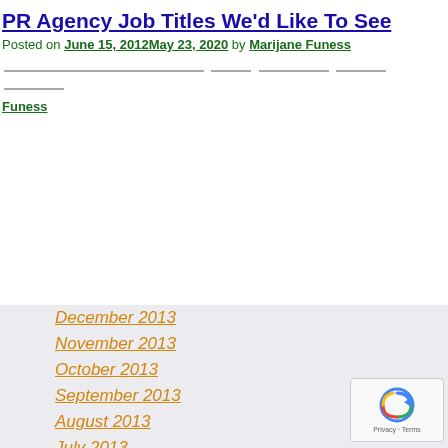PR Agency Job Titles We'd Like To See
Posted on June 15, 2012May 23, 2020 by Marijane Funess
Marijane Funess
December 2013
November 2013
October 2013
September 2013
August 2013
July 2013
June 2013
May 2013
April 2013
March 2013